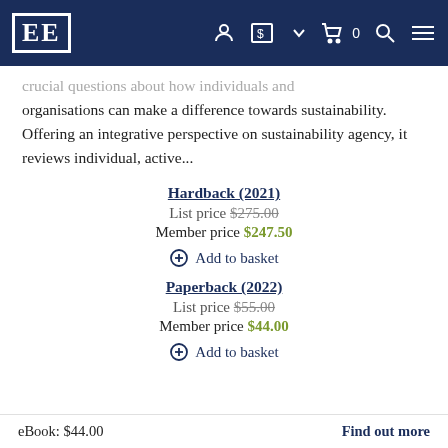EE [logo] navigation bar
crucial questions about how individuals and organisations can make a difference towards sustainability. Offering an integrative perspective on sustainability agency, it reviews individual, active...
Hardback (2021)
List price $275.00
Member price $247.50
⊕ Add to basket
Paperback (2022)
List price $55.00
Member price $44.00
⊕ Add to basket
eBook: $44.00    Find out more